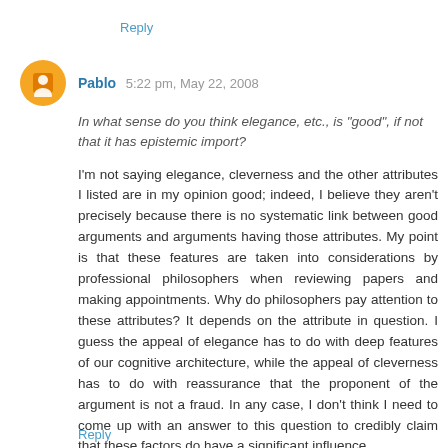Reply
Pablo  5:22 pm, May 22, 2008
In what sense do you think elegance, etc., is "good", if not that it has epistemic import?
I'm not saying elegance, cleverness and the other attributes I listed are in my opinion good; indeed, I believe they aren't precisely because there is no systematic link between good arguments and arguments having those attributes. My point is that these features are taken into considerations by professional philosophers when reviewing papers and making appointments. Why do philosophers pay attention to these attributes? It depends on the attribute in question. I guess the appeal of elegance has to do with deep features of our cognitive architecture, while the appeal of cleverness has to do with reassurance that the proponent of the argument is not a fraud. In any case, I don't think I need to come up with an answer to this question to credibly claim that these factors do have a significant influence.
Reply